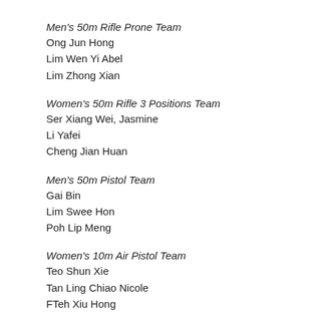Men's 50m Rifle Prone Team
Ong Jun Hong
Lim Wen Yi Abel
Lim Zhong Xian
Women's 50m Rifle 3 Positions Team
Ser Xiang Wei, Jasmine
Li Yafei
Cheng Jian Huan
Men's 50m Pistol Team
Gai Bin
Lim Swee Hon
Poh Lip Meng
Women's 10m Air Pistol Team
Teo Shun Xie
Tan Ling Chiao Nicole
FTeh Xiu Hong
Men's 10m Air Pistol Team